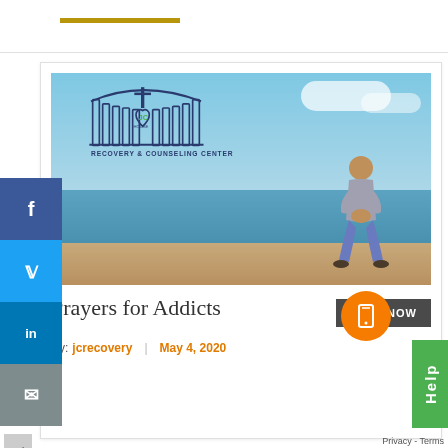[Figure (photo): JC House Recovery & Counseling Center logo overlaid on a beach photo with a man kneeling in prayer on the shore]
Prayers for Addicts
CALL NOW
By: jcrecovery | May 4, 2020